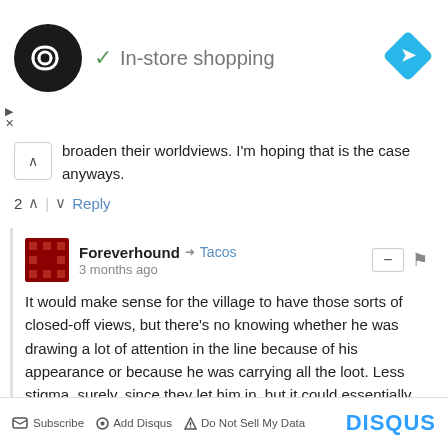[Figure (screenshot): Ad banner with a circular dark logo with double arrow symbol, checkmark, 'In-store shopping' text, and a blue diamond navigation icon on the right]
broaden their worldviews. I'm hoping that is the case anyways.
2 ^ | v Reply
Foreverhound → Tacos
3 months ago
It would make sense for the village to have those sorts of closed-off views, but there's no knowing whether he was drawing a lot of attention in the line because of his appearance or because he was carrying all the loot. Less stigma, surely, since they let him in, but it could essentially just be that people in big cities know how to be... I forget the word, less open with their prejudices.
^ | v Reply
Subscribe  Add Disqus  Do Not Sell My Data  DISQUS